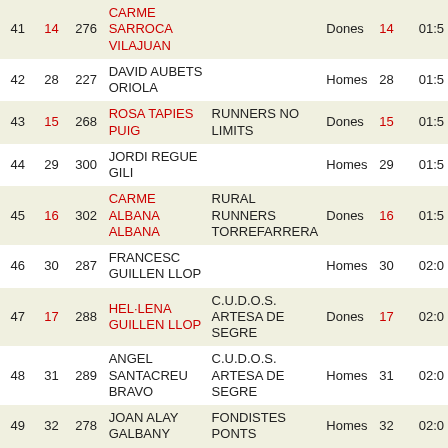| Pos | Cat | Bib | Name | Club | Sex | Rank | Time |
| --- | --- | --- | --- | --- | --- | --- | --- |
| 41 | 14 | 276 | CARME SARROCA VILAJUAN |  | Dones | 14 | 01:5... |
| 42 | 28 | 227 | DAVID AUBETS ORIOLA |  | Homes | 28 | 01:5... |
| 43 | 15 | 268 | ROSA TAPIES PUIG | RUNNERS NO LIMITS | Dones | 15 | 01:5... |
| 44 | 29 | 300 | JORDI REGUE GILI |  | Homes | 29 | 01:5... |
| 45 | 16 | 302 | CARME ALBANA ALBANA | RURAL RUNNERS TORREFARRERA | Dones | 16 | 01:5... |
| 46 | 30 | 287 | FRANCESC GUILLEN LLOP |  | Homes | 30 | 02:0... |
| 47 | 17 | 288 | HEL·LENA GUILLEN LLOP | C.U.D.O.S. ARTESA DE SEGRE | Dones | 17 | 02:0... |
| 48 | 31 | 289 | ANGEL SANTACREU BRAVO | C.U.D.O.S. ARTESA DE SEGRE | Homes | 31 | 02:0... |
| 49 | 32 | 278 | JOAN ALAY GALBANY | FONDISTES PONTS | Homes | 32 | 02:0... |
| 50 | 33 | 290 | DANI UTGE GUILLEN | CLUB EXCTA. LES PEÜLLES DEL MONTSEC | Homes | 33 | 02:0... |
| 51 | 34 | 208 | JULIA REGUE ROIG |  | Homes | 34 | 02:0... |
| 52 | 18 | 297 | MONTSE BARO BOLDU |  | Dones | 18 | 02:0... |
| 53 | 35 | 299 | JESUS CARLES ... |  | Homes | 35 | 02:0... |